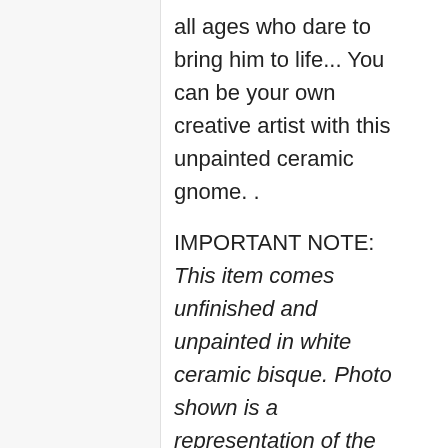all ages who dare to bring him to life... You can be your own creative artist with this unpainted ceramic gnome. .
IMPORTANT NOTE: This item comes unfinished and unpainted in white ceramic bisque. Photo shown is a representation of the